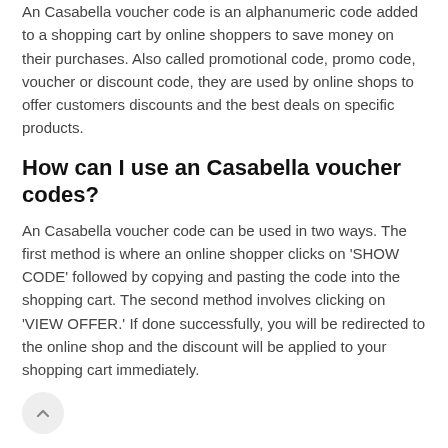An Casabella voucher code is an alphanumeric code added to a shopping cart by online shoppers to save money on their purchases. Also called promotional code, promo code, voucher or discount code, they are used by online shops to offer customers discounts and the best deals on specific products.
How can I use an Casabella voucher codes?
An Casabella voucher code can be used in two ways. The first method is where an online shopper clicks on 'SHOW CODE' followed by copying and pasting the code into the shopping cart. The second method involves clicking on 'VIEW OFFER.' If done successfully, you will be redirected to the online shop and the discount will be applied to your shopping cart immediately.